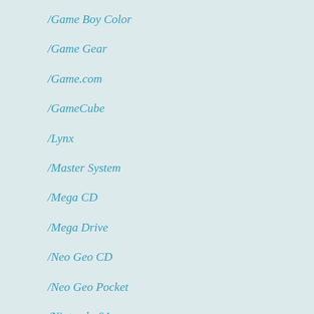/Game Boy Color
/Game Gear
/Game.com
/GameCube
/Lynx
/Master System
/Mega CD
/Mega Drive
/Neo Geo CD
/Neo Geo Pocket
/Nintendo 64
/PC
/PC Engine
/PC-88